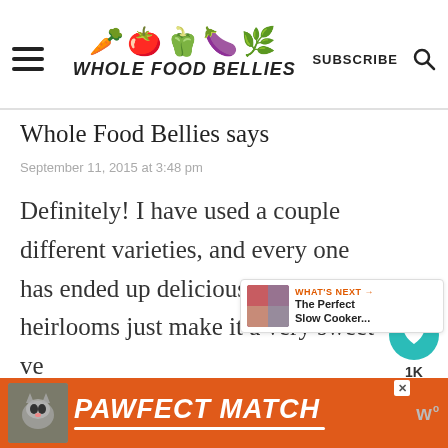WHOLE FOOD BELLIES — SUBSCRIBE
Whole Food Bellies says
September 11, 2015 at 3:48 pm
Definitely! I have used a couple different varieties, and every one has ended up delicious. The heirlooms just make it a very sweet ve…
Reply
[Figure (other): PAWFECT MATCH advertisement banner with cat photo]
[Figure (other): What's Next widget showing The Perfect Slow Cooker...]
[Figure (other): Floating heart like button (teal) showing 1K likes and share button]